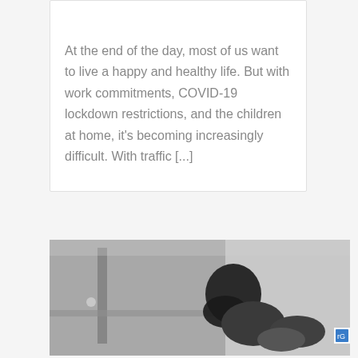Treadmills
At the end of the day, most of us want to live a happy and healthy life. But with work commitments, COVID-19 lockdown restrictions, and the children at home, it's becoming increasingly difficult. With traffic [...]
[Figure (photo): Black and white photo of a person using exercise equipment, possibly a treadmill or gym machine, shown from above/side angle in a gym setting.]